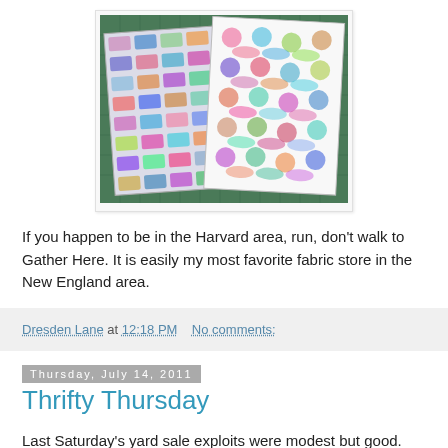[Figure (photo): Two folded pieces of colorful fabric on a green cutting mat. Left fabric has multi-colored animal print (elephants, giraffes). Right fabric has colorful dogs/dachshunds with circles on white background.]
If you happen to be in the Harvard area, run, don't walk to Gather Here. It is easily my most favorite fabric store in the New England area.
Dresden Lane at 12:18 PM   No comments:
Thursday, July 14, 2011
Thrifty Thursday
Last Saturday's yard sale exploits were modest but good. Nick and I stopped at a church run thrift shop in Tyngsboro